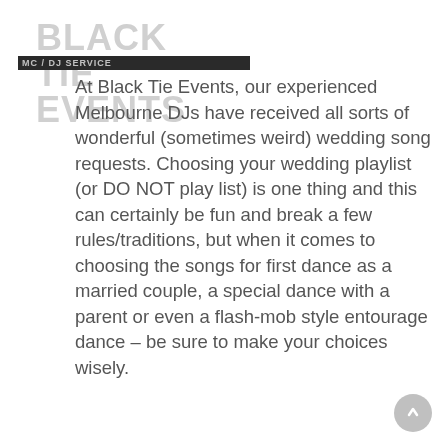BLACK TIE EVENTS
MC / DJ SERVICE
At Black Tie Events, our experienced Melbourne DJs have received all sorts of wonderful (sometimes weird) wedding song requests. Choosing your wedding playlist (or DO NOT play list) is one thing and this can certainly be fun and break a few rules/traditions, but when it comes to choosing the songs for first dance as a married couple, a special dance with a parent or even a flash-mob style entourage dance – be sure to make your choices wisely.